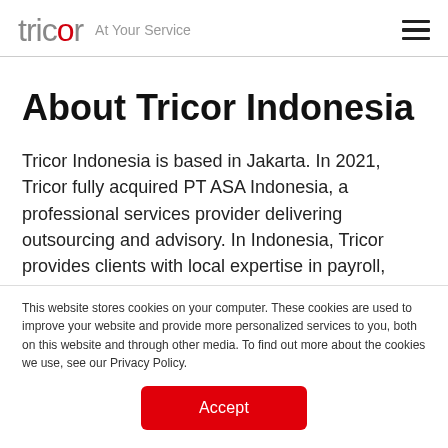tricor At Your Service
About Tricor Indonesia
Tricor Indonesia is based in Jakarta. In 2021, Tricor fully acquired PT ASA Indonesia, a professional services provider delivering outsourcing and advisory. In Indonesia, Tricor provides clients with local expertise in payroll, accounting, tax compliance and corporate secretarial
This website stores cookies on your computer. These cookies are used to improve your website and provide more personalized services to you, both on this website and through other media. To find out more about the cookies we use, see our Privacy Policy.
Accept